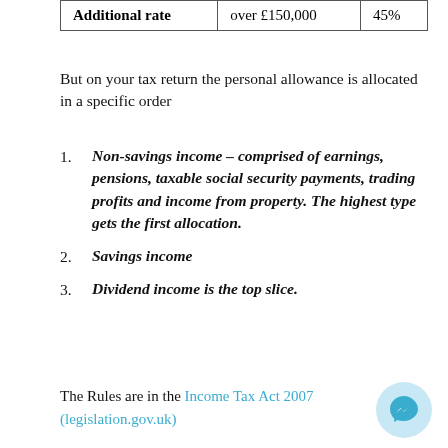|  |  |  |
| --- | --- | --- |
| Additional rate | over £150,000 | 45% |
But on your tax return the personal allowance is allocated in a specific order
Non-savings income – comprised of earnings, pensions, taxable social security payments, trading profits and income from property. The highest type gets the first allocation.
Savings income
Dividend income is the top slice.
The Rules are in the Income Tax Act 2007 (legislation.gov.uk)